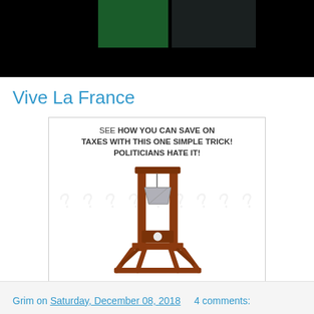[Figure (photo): Dark header image with black background, green and dark teal rectangular blocks visible]
Vive La France
[Figure (illustration): Meme image showing a guillotine with text: SEE HOW YOU CAN SAVE ON TAXES WITH THIS ONE SIMPLE TRICK! POLITICIANS HATE IT! Background has watermark question marks.]
Grim on Saturday, December 08, 2018    4 comments: